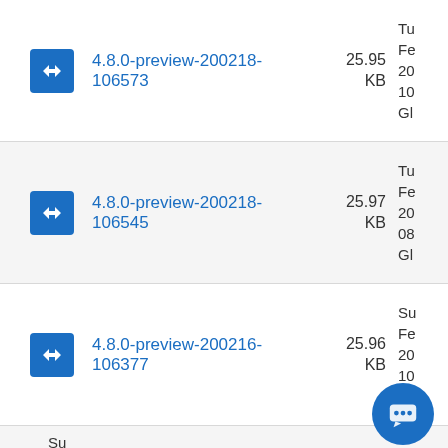4.8.0-preview-200218-106573 25.95 KB Tu Fe 20 10 Gl
4.8.0-preview-200218-106545 25.97 KB Tu Fe 20 08 Gl
4.8.0-preview-200216-106377 25.96 KB Su Fe 20 10 Gl
Su